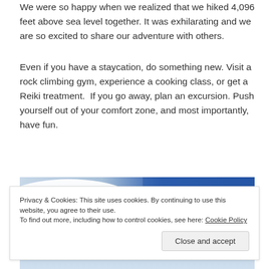We were so happy when we realized that we hiked 4,096 feet above sea level together. It was exhilarating and we are so excited to share our adventure with others.
Even if you have a staycation, do something new. Visit a rock climbing gym, experience a cooking class, or get a Reiki treatment.  If you go away, plan an excursion. Push yourself out of your comfort zone, and most importantly, have fun.
[Figure (photo): Blue sky with white clouds, partial view of an outdoor scene]
Privacy & Cookies: This site uses cookies. By continuing to use this website, you agree to their use.
To find out more, including how to control cookies, see here: Cookie Policy